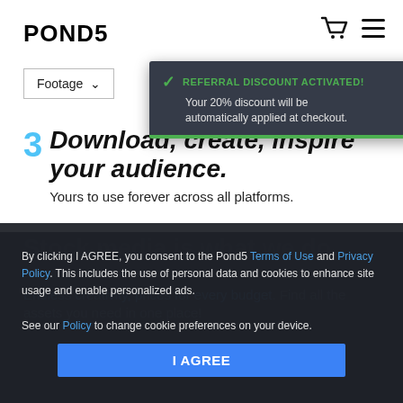POND5
Footage ∨
[Figure (screenshot): Referral discount notification popup with green checkmark, text 'REFERRAL DISCOUNT ACTIVATED! Your 20% discount will be automatically applied at checkout.' with green bottom bar]
3 Download, create, inspire your audience.
Yours to use forever across all platforms.
Stock media is what we do.
Endless creativity, prices for every budget. Find all the assets you need in one place!
By clicking I AGREE, you consent to the Pond5 Terms of Use and Privacy Policy. This includes the use of personal data and cookies to enhance site usage and enable personalized ads. See our Policy to change cookie preferences on your device.
I AGREE